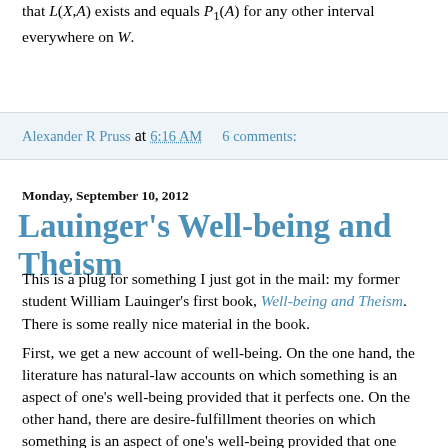that L(X,A) exists and equals P1(A) for any other interval everywhere on W.
Alexander R Pruss at 6:16 AM    6 comments:
Monday, September 10, 2012
Lauinger's Well-being and Theism
This is a plug for something I just got in the mail: my former student William Lauinger's first book, Well-being and Theism. There is some really nice material in the book.
First, we get a new account of well-being. On the one hand, the literature has natural-law accounts on which something is an aspect of one's well-being provided that it perfects one. On the other hand, there are desire-fulfillment theories on which something is an aspect of one's well-being provided that one desires it, or would desire it under appropriate conditions. Lauinger criticizes both (I am convinced by the criticism of desire-fulfillment but not of the natural-law accounts), and then makes a move that normally would be a